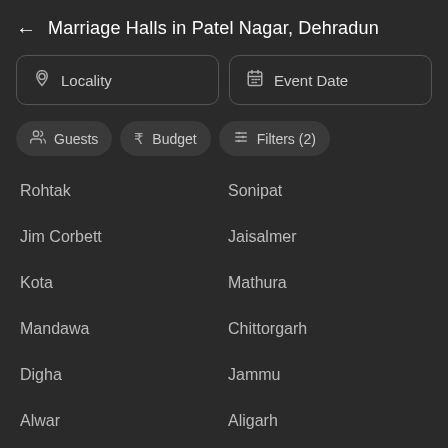Marriage Halls in Patel Nagar, Dehradun
Locality | Event Date (filter controls)
Guests | Budget | Filters (2) (chip controls)
Rohtak
Sonipat
Jim Corbett
Jaisalmer
Kota
Mathura
Mandawa
Chittorgarh
Digha
Jammu
Alwar
Aligarh
Durgapur
Dharamshala